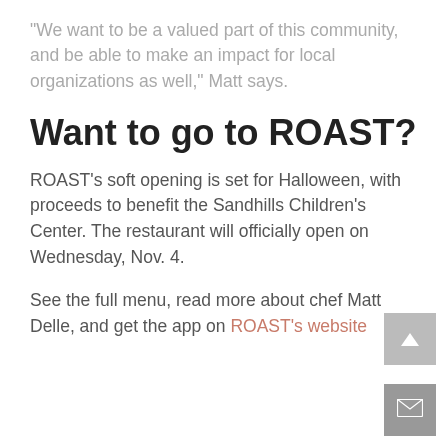“We want to be a valued part of this community, and be able to make an impact for local organizations as well,” Matt says.
Want to go to ROAST?
ROAST’s soft opening is set for Halloween, with proceeds to benefit the Sandhills Children’s Center. The restaurant will officially open on Wednesday, Nov. 4.
See the full menu, read more about chef Matt Delle, and get the app on ROAST’s website